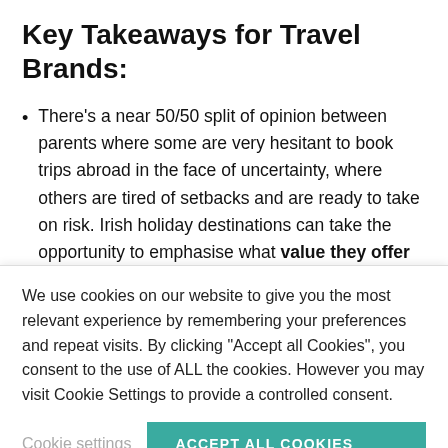Key Takeaways for Travel Brands:
There’s a near 50/50 split of opinion between parents where some are very hesitant to book trips abroad in the face of uncertainty, where others are tired of setbacks and are ready to take on risk. Irish holiday destinations can take the opportunity to emphasise what value they offer families while destinations elsewhere
We use cookies on our website to give you the most relevant experience by remembering your preferences and repeat visits. By clicking “Accept all Cookies”, you consent to the use of ALL the cookies. However you may visit Cookie Settings to provide a controlled consent.
Cookie settings | ACCEPT ALL COOKIES